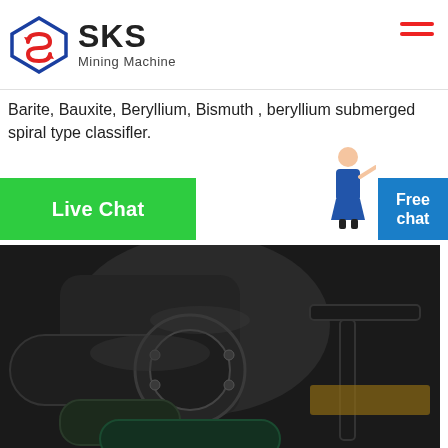[Figure (logo): SKS Mining Machine logo with diamond/arrow icon in blue and red]
Barite, Bauxite, Beryllium, Bismuth , beryllium submerged spiral type classifler.
[Figure (other): Live Chat green button]
[Figure (illustration): Female assistant figure pointing, with Free chat blue button]
[Figure (photo): Close-up photograph of industrial mining machine components, dark metal machinery parts]